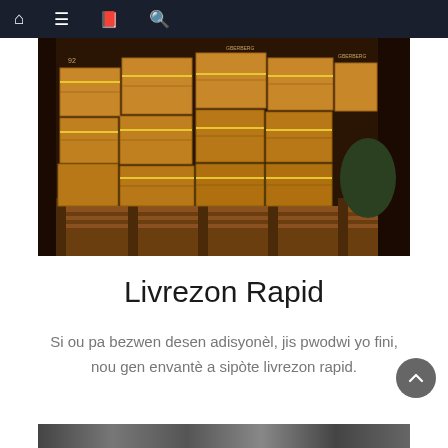Navigation bar with home, menu, book, and search icons
[Figure (photo): Photograph of a shipping container or warehouse interior filled with stacked cardboard boxes on wooden pallets, wrapped with yellow strapping tape.]
Livrezon Rapid
Si ou pa bezwen desen adisyonèl, jis pwodwi yo fini, nou gen envantè a sipòte livrezon rapid.
[Figure (photo): Partially visible bottom image strip, appears to be another photo beginning to appear at the bottom of the page.]